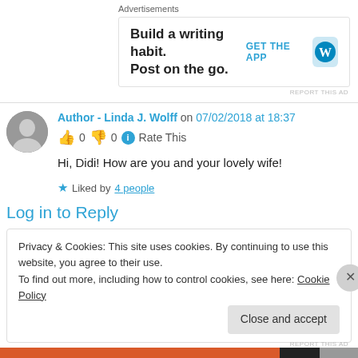Advertisements
[Figure (other): WordPress advertisement: Build a writing habit. Post on the go. GET THE APP with WordPress logo]
REPORT THIS AD
Author - Linda J. Wolff on 07/02/2018 at 18:37
👍 0 👎 0 ℹ Rate This
Hi, Didi! How are you and your lovely wife!
★ Liked by 4 people
Log in to Reply
Privacy & Cookies: This site uses cookies. By continuing to use this website, you agree to their use.
To find out more, including how to control cookies, see here: Cookie Policy
Close and accept